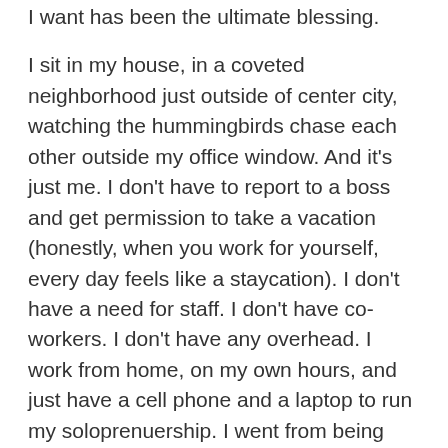I want has been the ultimate blessing.
I sit in my house, in a coveted neighborhood just outside of center city, watching the hummingbirds chase each other outside my office window. And it's just me. I don't have to report to a boss and get permission to take a vacation (honestly, when you work for yourself, every day feels like a staycation). I don't have a need for staff. I don't have co-workers. I don't have any overhead. I work from home, on my own hours, and just have a cell phone and a laptop to run my soloprenuership. I went from being divorced, fearful and alone to totally independent, confident and happy. And it all started with nothing.